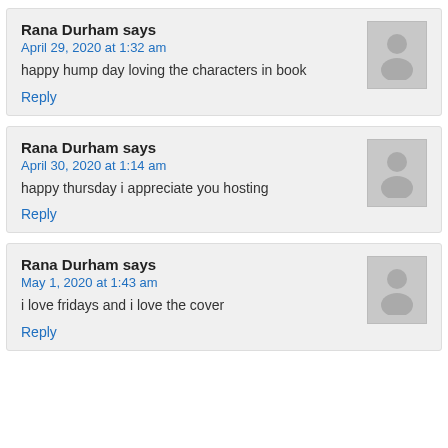Rana Durham says
April 29, 2020 at 1:32 am
happy hump day loving the characters in book
Reply
Rana Durham says
April 30, 2020 at 1:14 am
happy thursday i appreciate you hosting
Reply
Rana Durham says
May 1, 2020 at 1:43 am
i love fridays and i love the cover
Reply